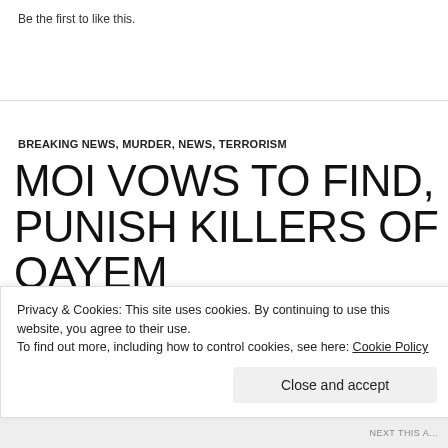Be the first to like this.
BREAKING NEWS, MURDER, NEWS, TERRORISM
MOI VOWS TO FIND, PUNISH KILLERS OF QAYEM
22. APRIL 2022   LEAVE A COMMENT
[Figure (other): Spotify banner/advertisement]
Privacy & Cookies: This site uses cookies. By continuing to use this website, you agree to their use.
To find out more, including how to control cookies, see here: Cookie Policy
Close and accept